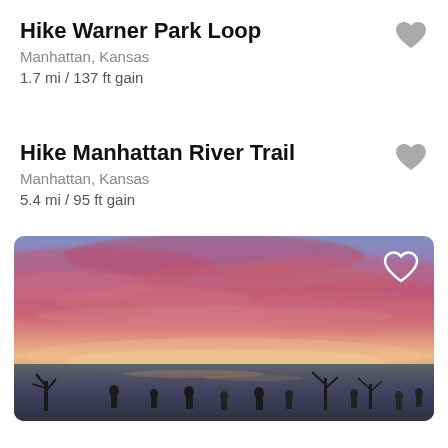Hike Warner Park Loop
Manhattan, Kansas
1.7 mi / 137 ft gain
Hike Manhattan River Trail
Manhattan, Kansas
5.4 mi / 95 ft gain
[Figure (photo): Sunset photo over a lake with dramatic pink and purple clouds, silhouettes of people and dead trees in the foreground water, with a heart/favorite icon overlay in the top right corner]